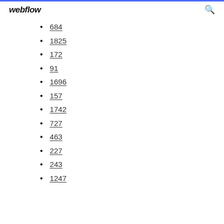webflow
684
1825
172
91
1696
157
1742
727
463
227
243
1247